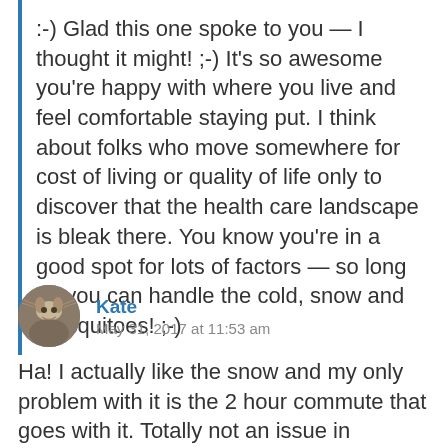:-) Glad this one spoke to you — I thought it might! ;-) It's so awesome you're happy with where you live and feel comfortable staying put. I think about folks who move somewhere for cost of living or quality of life only to discover that the health care landscape is bleak there. You know you're in a good spot for lots of factors — so long as you can handle the cold, snow and mosquitoes! ;-)
Kate
May 31, 2017 at 11:53 am
Ha! I actually like the snow and my only problem with it is the 2 hour commute that goes with it. Totally not an issue in retirement